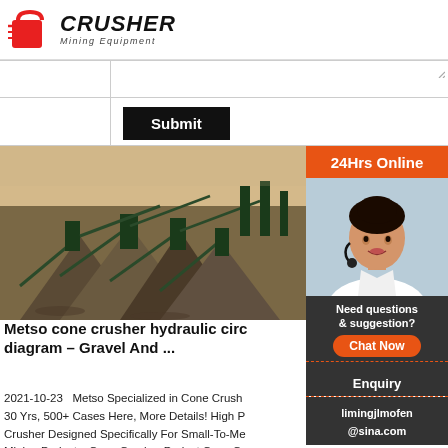CRUSHER Mining Equipment
[Figure (screenshot): Web form submit button area with textarea and Submit button]
[Figure (photo): Aerial view of a large open-pit mining crusher/screening facility with multiple conveyors and stockpiles]
Metso cone crusher hydraulic circuit diagram – Gravel And ...
2021-10-23   Metso Specialized in Cone Crusher 30 Yrs, 500+ Cases Here, More Details! High Performance Crusher Designed Specifically For Small-To-Medium Mining Projects. Cone Crusher Project Case Cover Customer Case Offer A-Z Solutions, Local Service. Cone Crusher 70-900t/h, For Hard Materials Crushing, Granite, Pepple, Gravel, etc Stone Crushing Machine
[Figure (screenshot): 24Hrs Online chat sidebar with female customer service representative wearing headset, showing Need questions & suggestion, Chat Now, Enquiry, limingjlmofen@sina.com]